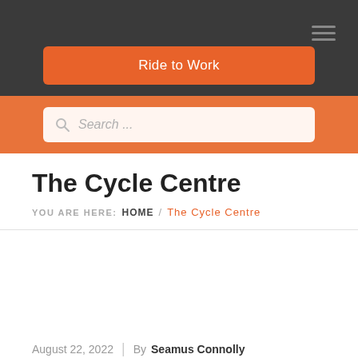Ride to Work
Search ...
The Cycle Centre
YOU ARE HERE: HOME / The Cycle Centre
August 22, 2022 | By Seamus Connolly | In The Cycle Centre
72  0